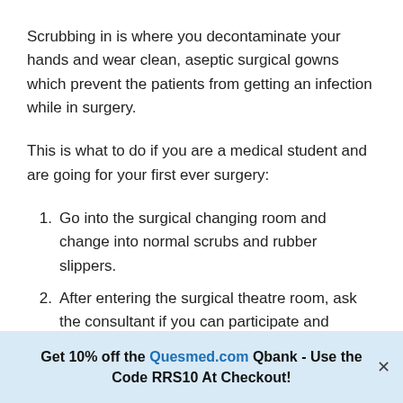Scrubbing in is where you decontaminate your hands and wear clean, aseptic surgical gowns which prevent the patients from getting an infection while in surgery.
This is what to do if you are a medical student and are going for your first ever surgery:
1. Go into the surgical changing room and change into normal scrubs and rubber slippers.
2. After entering the surgical theatre room, ask the consultant if you can participate and should wear the surgical gown.
Get 10% off the Quesmed.com Qbank - Use the Code RRS10 At Checkout!